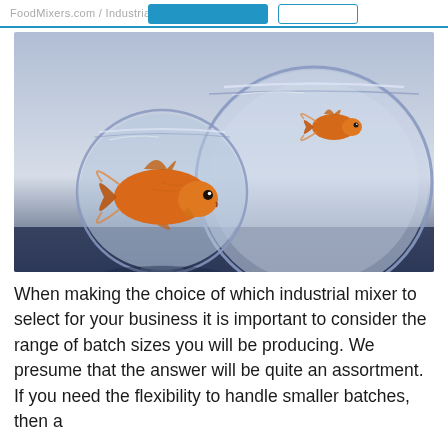FoodMixers.com / Industrial Mixers
[Figure (photo): Two glass fish bowls side by side — a small bowl on the left containing a large goldfish, and a much larger bowl on the right containing a small goldfish, illustrating the concept of batch size range.]
When making the choice of which industrial mixer to select for your business it is important to consider the range of batch sizes you will be producing. We presume that the answer will be quite an assortment.  If you need the flexibility to handle smaller batches, then a